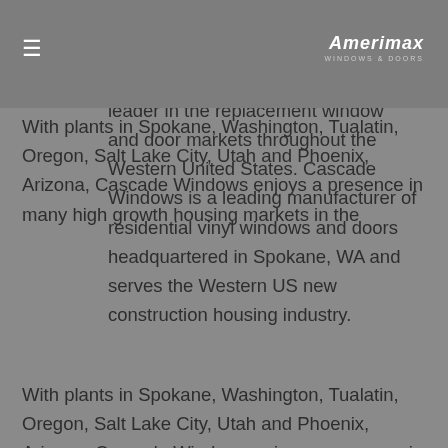≡  Amerimax WINDOWS & DOORS
Loveland, CO and Woodland, CA has developed a lasting reputation as an innovator and customer service leader in the replacement window and door markets throughout the Western United States. Cascade Windows is a leading manufacturer of residential vinyl windows and doors headquartered in Spokane, WA and serves the Western US new construction housing industry.
With plants in Spokane, Washington, Tualatin, Oregon, Salt Lake City, Utah and Phoenix, Arizona, Cascade Windows enjoys a presence in many high growth housing markets in the